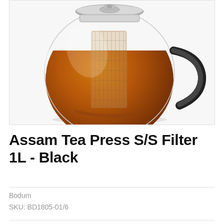[Figure (photo): A round glass teapot/tea press with amber tea inside, a stainless steel filter/infuser visible through the glass, a black handle, and a metal lid. The pot has a spherical body with a flat bottom section. Shot on white background.]
Assam Tea Press S/S Filter 1L - Black
Bodum
SKU: BD1805-01/6